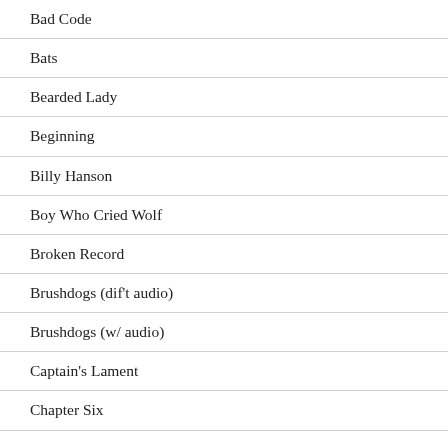Bad Code
Bats
Bearded Lady
Beginning
Billy Hanson
Boy Who Cried Wolf
Broken Record
Brushdogs (dif't audio)
Brushdogs (w/ audio)
Captain's Lament
Chapter Six